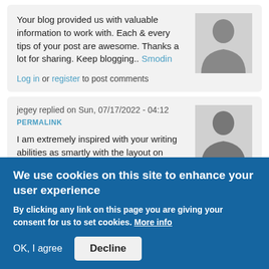Your blog provided us with valuable information to work with. Each & every tips of your post are awesome. Thanks a lot for sharing. Keep blogging.. Smodin
Log in or register to post comments
jegey replied on Sun, 07/17/2022 - 04:12
PERMALINK
I am extremely inspired with your writing abilities as smartly with the layout on your
We use cookies on this site to enhance your user experience
By clicking any link on this page you are giving your consent for us to set cookies. More info
OK, I agree
Decline